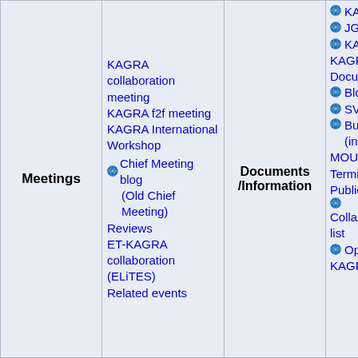| Meetings | Links | Documents/Information | Resources |
| --- | --- | --- | --- |
| Meetings | KAGRA collaboration meeting
KAGRA f2f meeting
KAGRA International Workshop
• Chief Meeting blog (Old Chief Meeting)
Reviews
ET-KAGRA collaboration (ELiTES)
Related events | Documents /Information | • KAGRA log (klog)
• JGWDoc
• KAGRA DAC wiki
KAGRA Design Document Tree
• Blogs
• SVN
• Bugzilla issue track (internal only)
MOU
Terminology
Publications
• Collaboration Member list
• Operation Manuals
KAGRA |